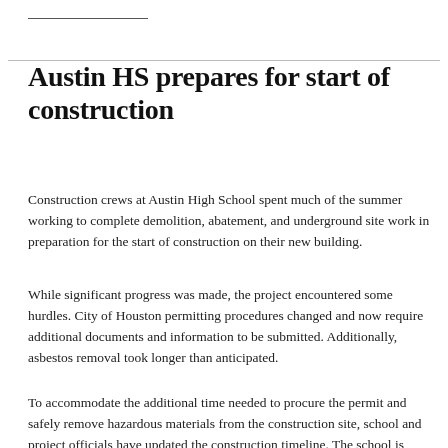Austin HS prepares for start of construction
Construction crews at Austin High School spent much of the summer working to complete demolition, abatement, and underground site work in preparation for the start of construction on their new building.
While significant progress was made, the project encountered some hurdles. City of Houston permitting procedures changed and now require additional documents and information to be submitted. Additionally, asbestos removal took longer than anticipated.
To accommodate the additional time needed to procure the permit and safely remove hazardous materials from the construction site, school and project officials have updated the construction timeline. The school is now scheduled to will move into its new facility in summer 2020, with students and staff